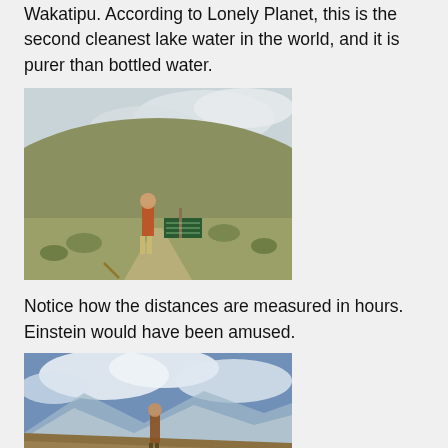Wakatipu. According to Lonely Planet, this is the second cleanest lake water in the world, and it is purer than bottled water.
[Figure (photo): A person standing on a hiking trail in a grassy mountain landscape with a trail sign, under a partly cloudy sky.]
Notice how the distances are measured in hours. Einstein would have been amused.
[Figure (photo): A person standing on a hillside with a panoramic mountain view and blue sky with clouds behind them.]